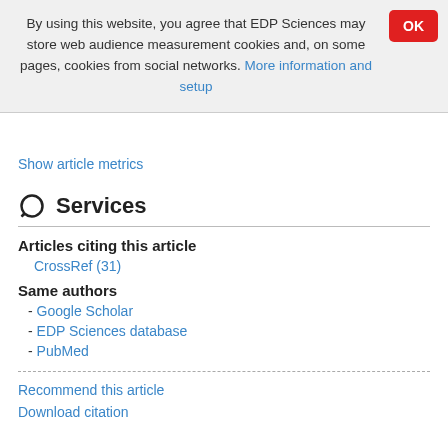By using this website, you agree that EDP Sciences may store web audience measurement cookies and, on some pages, cookies from social networks. More information and setup
Show article metrics
Services
Articles citing this article
CrossRef (31)
Same authors
- Google Scholar
- EDP Sciences database
- PubMed
Recommend this article
Download citation